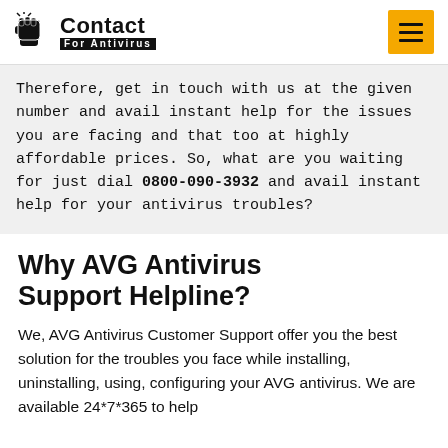Contact For Antivirus
Therefore, get in touch with us at the given number and avail instant help for the issues you are facing and that too at highly affordable prices. So, what are you waiting for just dial 0800-090-3932 and avail instant help for your antivirus troubles?
Why AVG Antivirus Support Helpline?
We, AVG Antivirus Customer Support offer you the best solution for the troubles you face while installing, uninstalling, using, configuring your AVG antivirus. We are available 24*7*365 to help